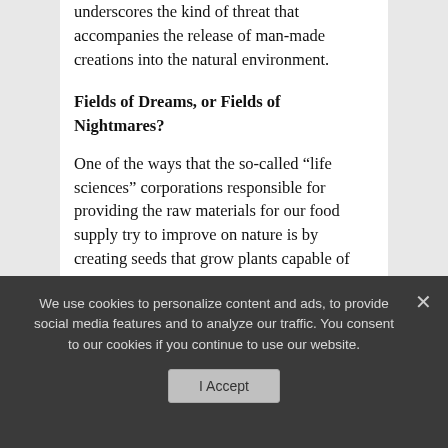underscores the kind of threat that accompanies the release of man-made creations into the natural environment.
Fields of Dreams, or Fields of Nightmares?
One of the ways that the so-called “life sciences” corporations responsible for providing the raw materials for our food supply try to improve on nature is by creating seeds that grow plants capable of producing their own poisons to protect against damage from insects and other small living things. In Iowa, one popular brand of genetically engineered corn is supposedly resistant to
We use cookies to personalize content and ads, to provide social media features and to analyze our traffic. You consent to our cookies if you continue to use our website.